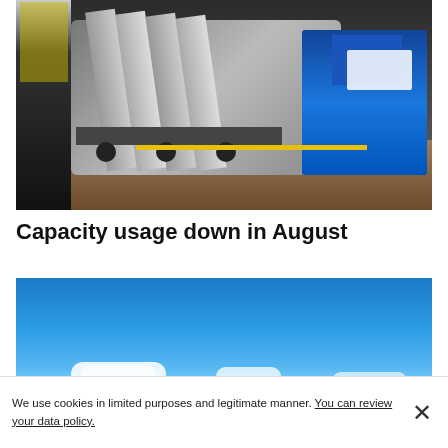[Figure (photo): Factory scene showing metal car body parts on a trolley/rack in an automotive manufacturing plant, with a worker in a yellow vest on the left and a blue industrial vehicle on the right]
Capacity usage down in August
[Figure (photo): Blue sky with scattered white clouds near the horizon]
We use cookies in limited purposes and legitimate manner. You can review your data policy.